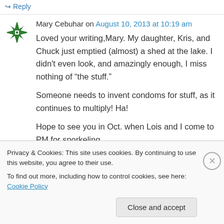↪ Reply
Mary Cebuhar on August 10, 2013 at 10:19 am
Loved your writing,Mary. My daughter, Kris, and Chuck just emptied (almost) a shed at the lake. I didn't even look, and amazingly enough, I miss nothing of “the stuff.”

Someone needs to invent condoms for stuff, as it continues to multiply! Ha!

Hope to see you in Oct. when Lois and I come to PM for snorkeling.
Privacy & Cookies: This site uses cookies. By continuing to use this website, you agree to their use.
To find out more, including how to control cookies, see here: Cookie Policy